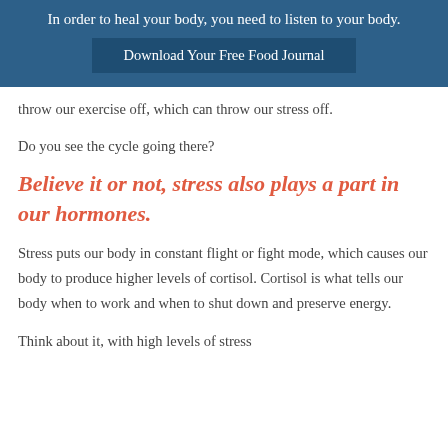In order to heal your body, you need to listen to your body.
Download Your Free Food Journal
throw our exercise off, which can throw our stress off.
Do you see the cycle going there?
Believe it or not, stress also plays a part in our hormones.
Stress puts our body in constant flight or fight mode, which causes our body to produce higher levels of cortisol. Cortisol is what tells our body when to work and when to shut down and preserve energy.
Think about it, with high levels of stress